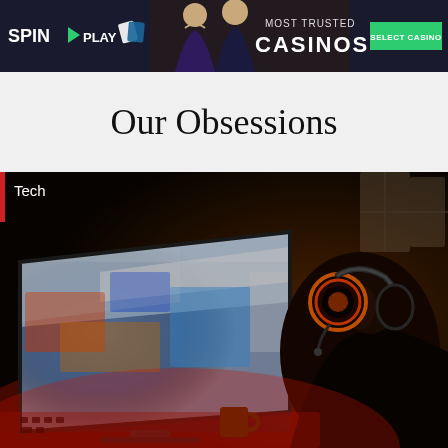[Figure (photo): SpinItPlay casino advertisement banner showing a man and woman in formal attire holding playing cards, with text 'MOST TRUSTED CASINOS' and a green 'SELECT CASINO' button on a dark background.]
Our Obsessions
[Figure (photo): Dark gaming scene with a person wearing glowing orange/red headphones and glasses, viewed from the side, looking at a gaming monitor displaying a colorful racing or action game. The scene is lit primarily in red tones.]
Tech